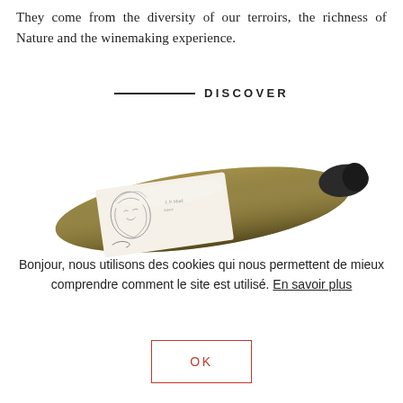They come from the diversity of our terroirs, the richness of Nature and the winemaking experience.
DISCOVER
[Figure (photo): A wine bottle lying diagonally, with a light-colored label featuring a hand-drawn portrait sketch, against a white background.]
Bonjour, nous utilisons des cookies qui nous permettent de mieux comprendre comment le site est utilisé. En savoir plus
OK